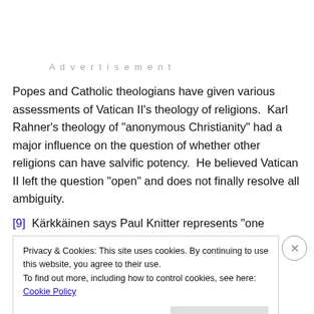Advertisement
Popes and Catholic theologians have given various assessments of Vatican II’s theology of religions.  Karl Rahner’s theology of “anonymous Christianity” had a major influence on the question of whether other religions can have salvific potency.  He believed Vatican II left the question “open” and does not finally resolve all ambiguity.
[9]  Kärkkäinen says Paul Knitter represents “one extreme”
Privacy & Cookies: This site uses cookies. By continuing to use this website, you agree to their use.
To find out more, including how to control cookies, see here: Cookie Policy
Close and accept